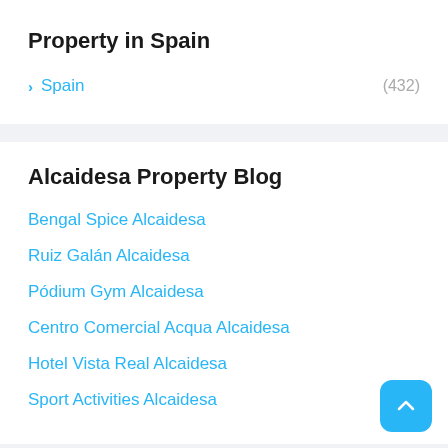Property in Spain
> Spain (432)
Alcaidesa Property Blog
Bengal Spice Alcaidesa
Ruiz Galán Alcaidesa
Pódium Gym Alcaidesa
Centro Comercial Acqua Alcaidesa
Hotel Vista Real Alcaidesa
Sport Activities Alcaidesa